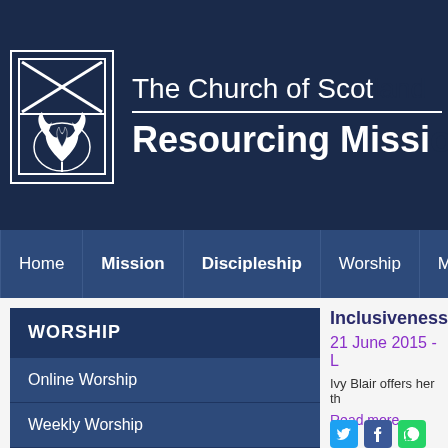[Figure (logo): Church of Scotland crest/logo with saltire cross and burning bush emblem in white on dark navy background]
The Church of Scotland
Resourcing Mission
Home | Mission | Discipleship | Worship | Music | Video
WORSHIP
Online Worship
Weekly Worship
Inclusiveness
21 June 2015 - L
Ivy Blair offers her th
Read more